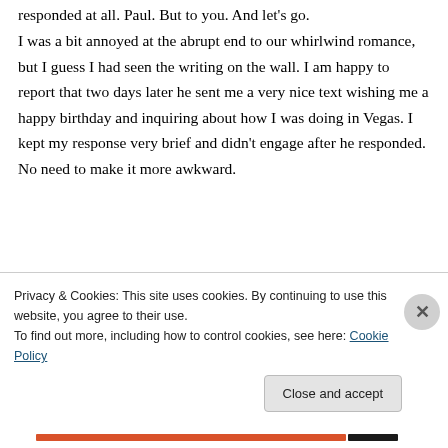responded at all. Paul. But to you. And let's go.
I was a bit annoyed at the abrupt end to our whirlwind romance, but I guess I had seen the writing on the wall. I am happy to report that two days later he sent me a very nice text wishing me a happy birthday and inquiring about how I was doing in Vegas. I kept my response very brief and didn't engage after he responded. No need to make it more awkward.
[Figure (screenshot): Screenshot of a website widget showing bold text 'And free.' with circular avatar images of people below it, on a light grey background.]
Privacy & Cookies: This site uses cookies. By continuing to use this website, you agree to their use.
To find out more, including how to control cookies, see here: Cookie Policy
Close and accept